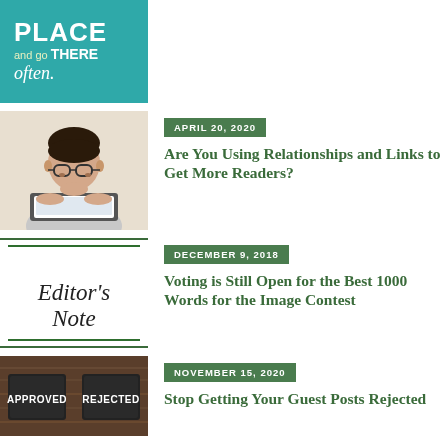[Figure (illustration): Teal background image with text: PLACE and go THERE often.]
[Figure (photo): Person with glasses looking at a laptop, chin resting on hands]
APRIL 20, 2020
Are You Using Relationships and Links to Get More Readers?
[Figure (illustration): Editor's Note calligraphy text between two horizontal green lines]
DECEMBER 9, 2018
Voting is Still Open for the Best 1000 Words for the Image Contest
[Figure (photo): Two chalkboard signs reading APPROVED and REJECTED on a wooden surface]
NOVEMBER 15, 2020
Stop Getting Your Guest Posts Rejected